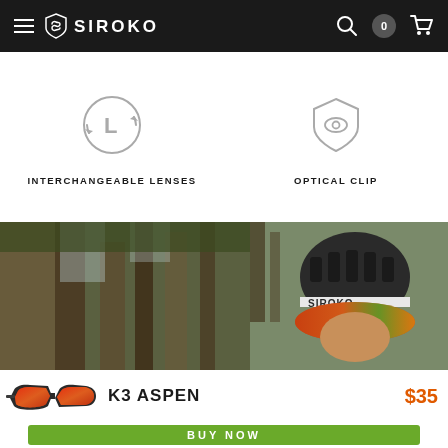SIROKO
[Figure (infographic): Interchangeable lenses icon - circular arrow with L]
INTERCHANGEABLE LENSES
[Figure (infographic): Optical clip icon - shield with eye]
OPTICAL CLIP
[Figure (photo): Cyclist wearing SIROKO branded cycling helmet with red mirrored visor/glasses in a forest setting]
[Figure (photo): K3 Aspen sunglasses - sport sunglasses with red/orange mirrored lenses and dark frame]
K3 ASPEN
$35
BUY NOW